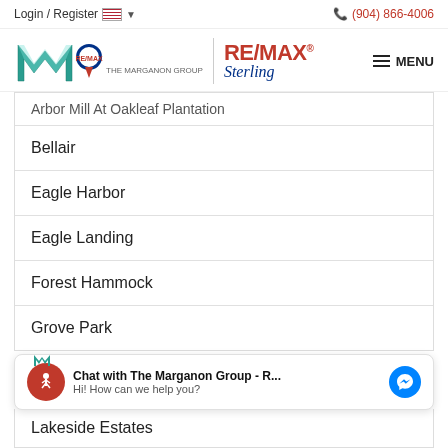Login / Register  (904) 866-4006
[Figure (logo): The Marganon Group RE/MAX Sterling logo]
Arbor Mill At Oakleaf Plantation (partially visible)
Bellair
Eagle Harbor
Eagle Landing
Forest Hammock
Grove Park
[Figure (screenshot): Chat with The Marganon Group - R... Hi! How can we help you? with messenger icon and accessibility icon]
Lakeside Estates